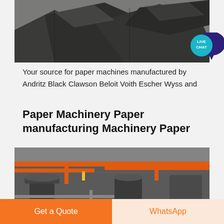[Figure (photo): Aerial or close-up view of dark granular material (sand or crushed material) in piles with geometric shapes/divisions]
[Figure (infographic): Live Chat button — teal badge with 'LIVE CHAT' text overlaid on a dark purple speech bubble icon]
Your source for paper machines manufactured by Andritz Black Clawson Beloit Voith Escher Wyss and
Paper Machinery Paper manufacturing Machinery Paper
[Figure (photo): Interior of an industrial facility showing orange overhead crane beams, industrial equipment and ductwork in a large warehouse]
Get a Quote
WhatsApp